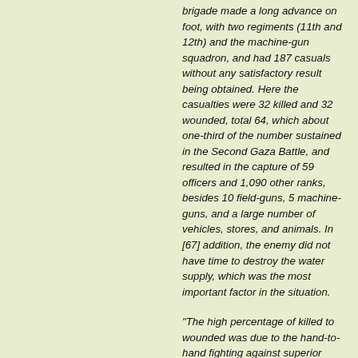brigade made a long advance on foot, with two regiments (11th and 12th) and the machine-gun squadron, and had 187 casuals without any satisfactory result being obtained. Here the casualties were 32 killed and 32 wounded, total 64, which about one-third of the number sustained in the Second Gaza Battle, and resulted in the capture of 59 officers and 1,090 other ranks, besides 10 field-guns, 5 machine-guns, and a large number of vehicles, stores, and animals. In [67] addition, the enemy did not have time to destroy the water supply, which was the most important factor in the situation.
"The high percentage of killed to wounded was due to the hand-to-hand fighting against superior numbers at the trenches. The majority of the wounded fell before the trenches were reached."